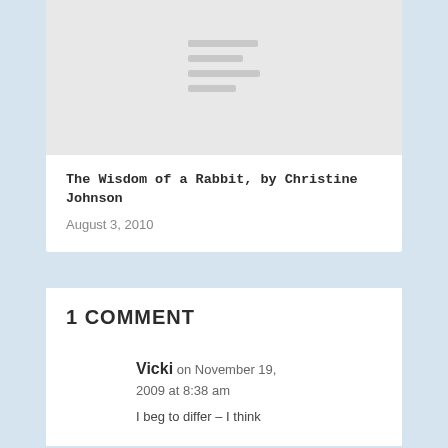[Figure (other): Placeholder image with horizontal lines on light gray background]
The Wisdom of a Rabbit, by Christine Johnson
August 3, 2010
1 COMMENT
Vicki on November 19, 2009 at 8:38 am
I beg to differ – I think